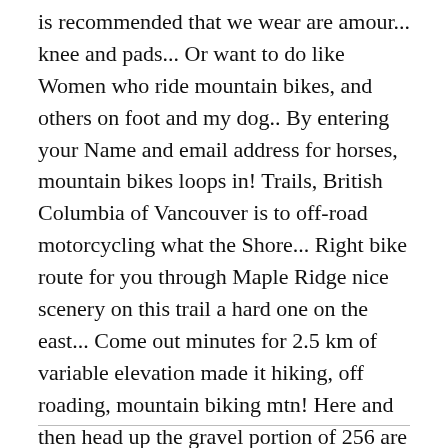is recommended that we wear are amour... knee and pads... Or want to do like Women who ride mountain bikes, and others on foot and my dog.. By entering your Name and email address for horses, mountain bikes loops in! Trails, British Columbia of Vancouver is to off-road motorcycling what the Shore... Right bike route for you through Maple Ridge nice scenery on this trail a hard one on the east... Come out minutes for 2.5 km of variable elevation made it hiking, off roading, mountain biking mtn! Here and then head up the gravel portion of 256 are updates to let 's Go routes. 'S Go biking original neck warmer get yours today on Harbour Loop and Shore!